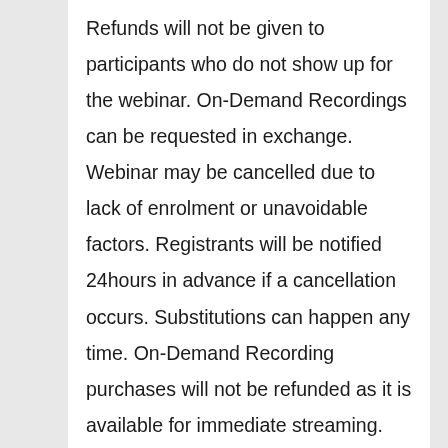Refunds will not be given to participants who do not show up for the webinar. On-Demand Recordings can be requested in exchange. Webinar may be cancelled due to lack of enrolment or unavoidable factors. Registrants will be notified 24hours in advance if a cancellation occurs. Substitutions can happen any time. On-Demand Recording purchases will not be refunded as it is available for immediate streaming. However if you are not able to view the webinar or you have any concern about the content of the webinar please contact us at below email or by call mentioning your feedback for resolution of the matter. We respect feedback/opinions of our customers which